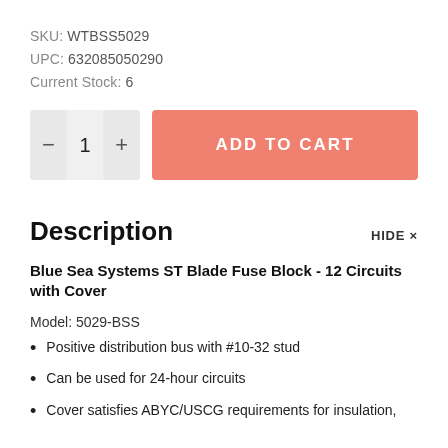SKU: WTBSS5029
UPC: 632085050290
Current Stock: 6
[Figure (screenshot): Quantity selector with minus button, value 1, and plus button; followed by orange ADD TO CART button]
Description
HIDE ×
Blue Sea Systems ST Blade Fuse Block - 12 Circuits with Cover
Model: 5029-BSS
Positive distribution bus with #10-32 stud
Can be used for 24-hour circuits
Cover satisfies ABYC/USCG requirements for insulation,